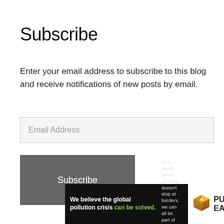Subscribe
Enter your email address to subscribe to this blog and receive notifications of new posts by email.
[Figure (screenshot): Email address input field with placeholder text 'Email Address']
[Figure (screenshot): Dark grey Subscribe button]
[Figure (infographic): Pure Earth advertisement banner. Left black section reads: 'We believe the global pollution crisis can be solved.' Middle text: 'In a world where pollution doesn't stop at borders, we can all be part of the solution. JOIN US.' Right white section shows Pure Earth logo with diamond/shield icon.]